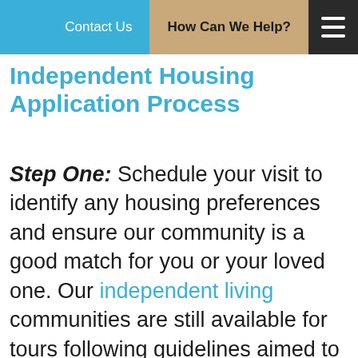Contact Us   How Can We Help?
Independent Housing Application Process
Step One: Schedule your visit to identify any housing preferences and ensure our community is a good match for you or your loved one. Our independent living communities are still available for tours following guidelines aimed to keep you and our residents safe. For those looking into our enhanced assisted living, we are not doing tours at this time due to the governor implemented COVID-19 restrictions, but can provide you with